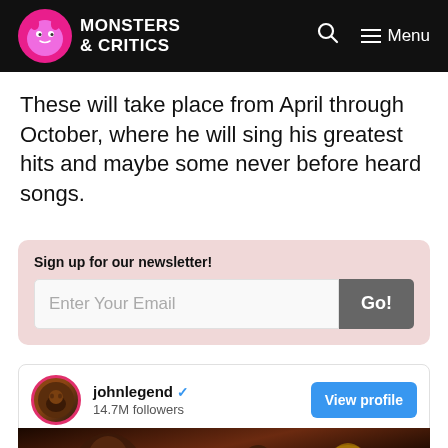Monsters & Critics
These will take place from April through October, where he will sing his greatest hits and maybe some never before heard songs.
Sign up for our newsletter!
[Figure (screenshot): Newsletter sign-up box with email input field and Go! button on pink background]
[Figure (screenshot): Instagram embed card showing johnlegend profile with 14.7M followers and View profile button, followed by a dark music video still]
johnlegend · 14.7M followers